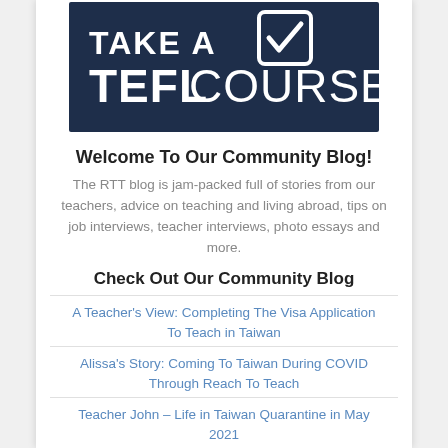[Figure (logo): Dark navy blue banner image with white bold text 'TAKE A TEFLCOURSE' and a white checkbox icon]
Welcome To Our Community Blog!
The RTT blog is jam-packed full of stories from our teachers, advice on teaching and living abroad, tips on job interviews, teacher interviews, photo essays and more.
Check Out Our Community Blog
A Teacher's View: Completing The Visa Application To Teach in Taiwan
Alissa's Story: Coming To Taiwan During COVID Through Reach To Teach
Teacher John – Life in Taiwan Quarantine in May 2021